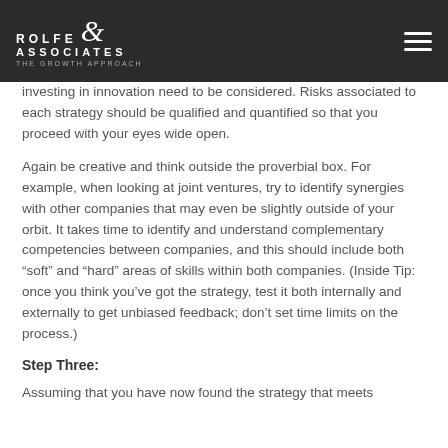ROLFE & ASSOCIATES THE GROWTH APPROACH
investing in innovation need to be considered. Risks associated to each strategy should be qualified and quantified so that you proceed with your eyes wide open.
Again be creative and think outside the proverbial box. For example, when looking at joint ventures, try to identify synergies with other companies that may even be slightly outside of your orbit. It takes time to identify and understand complementary competencies between companies, and this should include both “soft” and “hard” areas of skills within both companies. (Inside Tip: once you think you’ve got the strategy, test it both internally and externally to get unbiased feedback; don’t set time limits on the process.)
Step Three:
Assuming that you have now found the strategy that meets